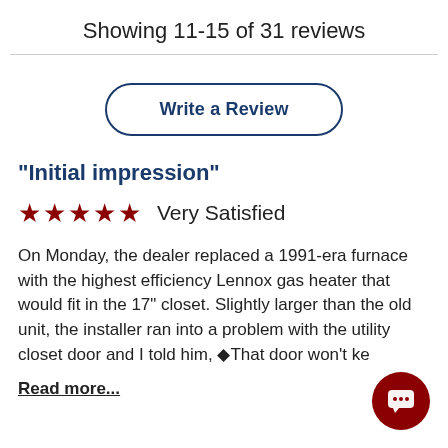Showing 11-15 of 31 reviews
Write a Review
"Initial impression"
★★★★★  Very Satisfied
On Monday, the dealer replaced a 1991-era furnace with the highest efficiency Lennox gas heater that would fit in the 17" closet. Slightly larger than the old unit, the installer ran into a problem with the utility closet door and I told him, ◆That door won't ke
Read more...